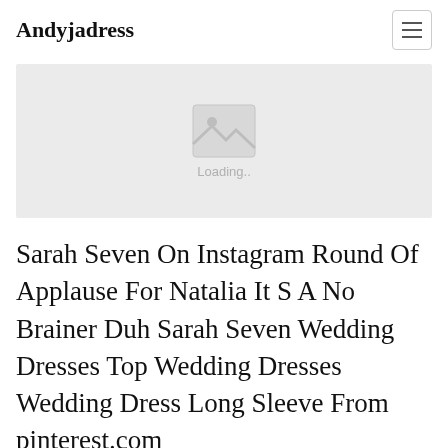Andyjadress
[Figure (photo): Image loading placeholder with mountain/photo icon and 'Loading..' text on light grey background]
Sarah Seven On Instagram Round Of Applause For Natalia It S A No Brainer Duh Sarah Seven Wedding Dresses Top Wedding Dresses Wedding Dress Long Sleeve From pinterest.com